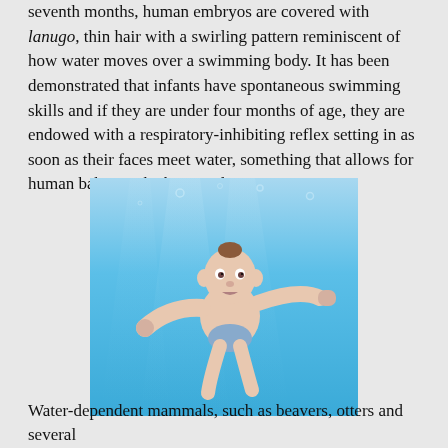seventh months, human embryos are covered with lanugo, thin hair with a swirling pattern reminiscent of how water moves over a swimming body. It has been demonstrated that infants have spontaneous swimming skills and if they are under four months of age, they are endowed with a respiratory-inhibiting reflex setting in as soon as their faces meet water, something that allows for human babies to be born under water.
[Figure (photo): A baby swimming underwater in a blue pool, arms extended outward, looking at the camera.]
Water-dependent mammals, such as beavers, otters and several